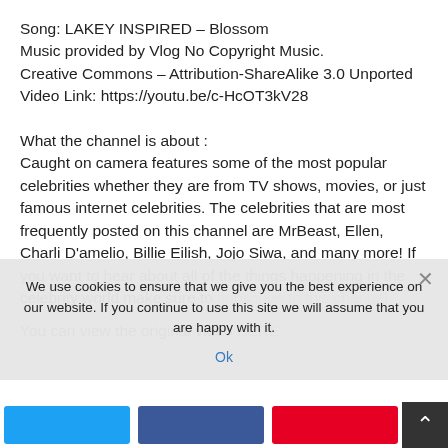Song: LAKEY INSPIRED – Blossom
Music provided by Vlog No Copyright Music.
Creative Commons – Attribution-ShareAlike 3.0 Unported
Video Link: https://youtu.be/c-HcOT3kV28
What the channel is about :
Caught on camera features some of the most popular celebrities whether they are from TV shows, movies, or just famous internet celebrities. The celebrities that are most frequently posted on this channel are MrBeast, Ellen, Charli D'amelio, Billie Eilish, Jojo Siwa, and many more! If you want to hear about all of the things happening in the celebrity world make sure to
You can view the original video HERE.
We use cookies to ensure that we give you the best experience on our website. If you continue to use this site we will assume that you are happy with it.
Ok